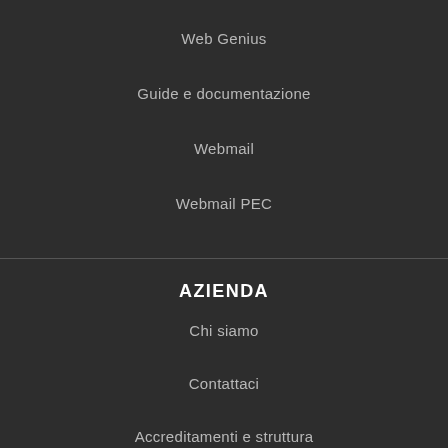Web Genius
Guide e documentazione
Webmail
Webmail PEC
AZIENDA
Chi siamo
Contattaci
Accreditamenti e struttura
Privacy Policy